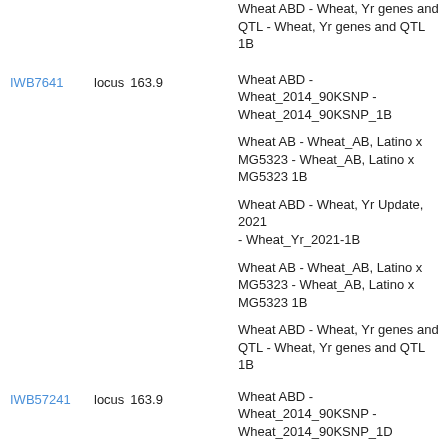Wheat ABD - Wheat, Yr genes and QTL - Wheat, Yr genes and QTL 1B
IWB7641   locus   163.9
Wheat ABD - Wheat_2014_90KSNP - Wheat_2014_90KSNP_1B
Wheat AB - Wheat_AB, Latino x MG5323 - Wheat_AB, Latino x MG5323 1B
Wheat ABD - Wheat, Yr Update, 2021 - Wheat_Yr_2021-1B
Wheat AB - Wheat_AB, Latino x MG5323 - Wheat_AB, Latino x MG5323 1B
Wheat ABD - Wheat, Yr genes and QTL - Wheat, Yr genes and QTL 1B
IWB57241   locus   163.9
Wheat ABD - Wheat_2014_90KSNP - Wheat_2014_90KSNP_1D
Wheat ABD - Wheat, Yr genes and QTL - Wheat, Yr genes and QTL 1D
Wheat ABD - Wheat, Klein Proteo x Klein Chaja - KPxKC 1B